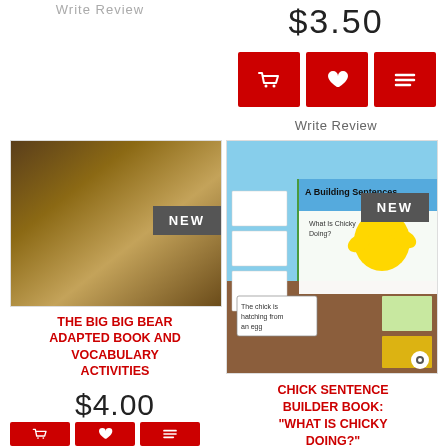Write Review
$3.50
[Figure (screenshot): Three red action buttons: shopping basket, heart/wishlist, and list/compare icons]
Write Review
[Figure (photo): The Big Big Bear Adapted Book and Vocabulary Activities product photo showing educational materials spread on a table with a NEW badge]
[Figure (photo): Chick Sentence Builder Book product photo showing A Building Sentences Adapted Book with chick images and sentence cards on a table with NEW badge]
THE BIG BIG BEAR ADAPTED BOOK AND VOCABULARY ACTIVITIES
$4.00
CHICK SENTENCE BUILDER BOOK: "WHAT IS CHICKY DOING?"